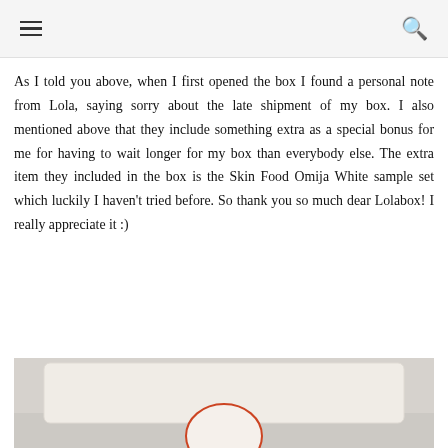As I told you above, when I first opened the box I found a personal note from Lola, saying sorry about the late shipment of my box. I also mentioned above that they include something extra as a special bonus for me for having to wait longer for my box than everybody else. The extra item they included in the box is the Skin Food Omija White sample set which luckily I haven't tried before. So thank you so much dear Lolabox! I really appreciate it :)
[Figure (photo): Partial view of a product package or card with a circular logo/design visible at the bottom, shown against a light background.]